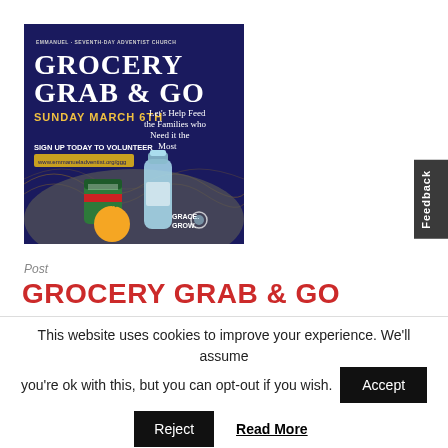[Figure (illustration): Grocery Grab & Go event poster with dark navy background. Title 'GROCERY GRAB & GO' in large white serif font, 'SUNDAY MARCH 6TH' in yellow, text 'Let's Help Feed the Families who Need it the Most', 'SIGN UP TODAY TO VOLUNTEER www.emmanueladventist.org/ggg', illustrated grocery items including canned foods, water bottle, orange. Bottom right: 'GRACE. GROW.' logo.]
Post
GROCERY GRAB & GO
This website uses cookies to improve your experience. We'll assume you're ok with this, but you can opt-out if you wish.
Accept
Reject
Read More